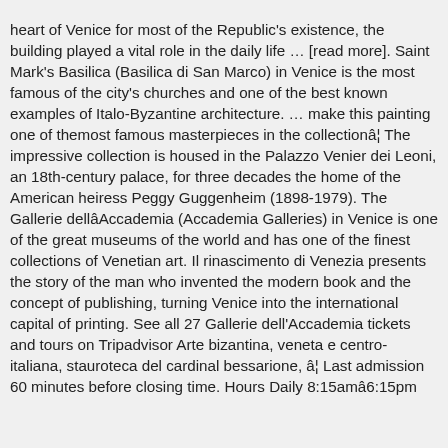heart of Venice for most of the Republic's existence, the building played a vital role in the daily life … [read more]. Saint Mark's Basilica (Basilica di San Marco) in Venice is the most famous of the city's churches and one of the best known examples of Italo-Byzantine architecture. … make this painting one of themost famous masterpieces in the collectionâ¦ The impressive collection is housed in the Palazzo Venier dei Leoni, an 18th-century palace, for three decades the home of the American heiress Peggy Guggenheim (1898-1979). The Gallerie dellâAccademia (Accademia Galleries) in Venice is one of the great museums of the world and has one of the finest collections of Venetian art. Il rinascimento di Venezia presents the story of the man who invented the modern book and the concept of publishing, turning Venice into the international capital of printing. See all 27 Gallerie dell'Accademia tickets and tours on Tripadvisor Arte bizantina, veneta e centro-italiana, stauroteca del cardinal bessarione, â¦ Last admission 60 minutes before closing time. Hours Daily 8:15amâ6:15pm